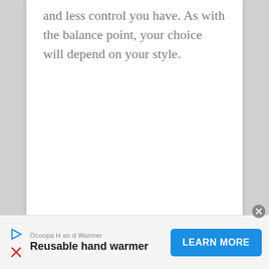and less control you have. As with the balance point, your choice will depend on your style.
[Figure (screenshot): Advertisement banner at the bottom of the page for Ocoopa Hand Warmer. Shows sponsor name 'Ocoopa Hand Warmer', product tagline 'Reusable hand warmer', a blue 'LEARN MORE' button, and a close (X) button.]